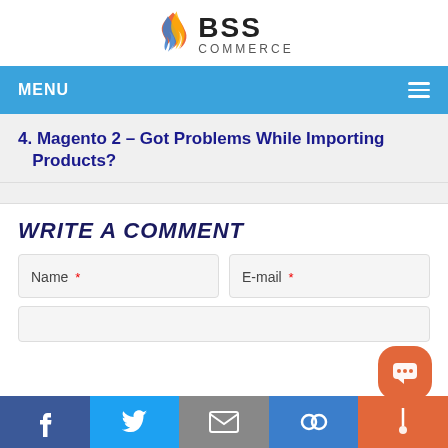[Figure (logo): BSS Commerce logo with flame/ribbon icon and text BSS COMMERCE]
MENU
4. Magento 2 – Got Problems While Importing Products?
WRITE A COMMENT
Name * | E-mail *
Facebook | Twitter | Email | Link | Chat